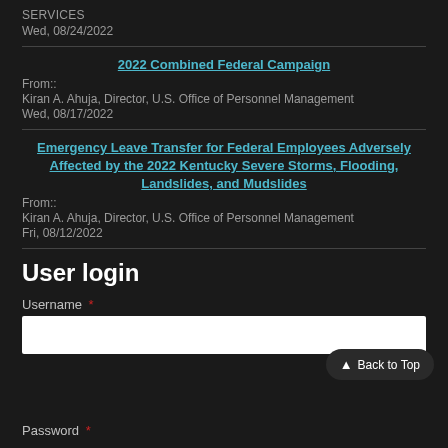SERVICES
Wed, 08/24/2022
2022 Combined Federal Campaign
From::
Kiran A. Ahuja, Director, U.S. Office of Personnel Management
Wed, 08/17/2022
Emergency Leave Transfer for Federal Employees Adversely Affected by the 2022 Kentucky Severe Storms, Flooding, Landslides, and Mudslides
From::
Kiran A. Ahuja, Director, U.S. Office of Personnel Management
Fri, 08/12/2022
User login
Username *
Password *